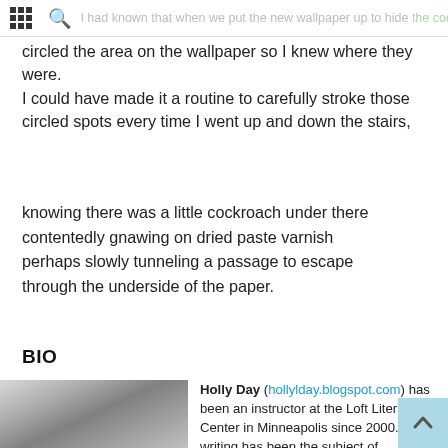If I had known that when we put the new wallpaper up to hide the cockroaches where they crouched low against the wall, chased them carefully with paper and paste
circled the area on the wallpaper so I knew where they were. I could have made it a routine to carefully stroke those circled spots every time I went up and down the stairs,
knowing there was a little cockroach under there
contentedly gnawing on dried paste varnish
perhaps slowly tunneling a passage to escape
through the underside of the paper.
BIO
[Figure (photo): Black and white photo of Holly Day, showing a woman with light hair]
Holly Day (hollylday.blogspot.com) has been an instructor at the Loft Literary Center in Minneapolis since 2000. Her writing has been the subject of...